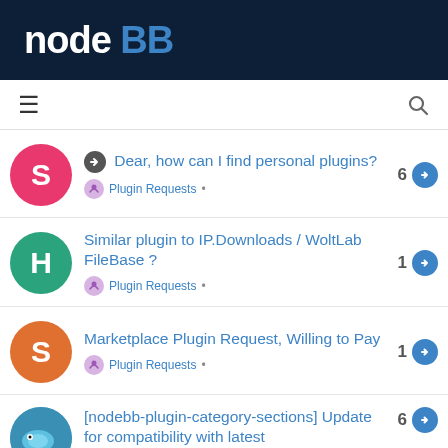nodeBB
Dear, how can I find personal plugins? — Plugin Requests • — 6
Similar plugin to IP.Downloads / WoltLab FileBase ? — Plugin Requests • — 1
Marketplace Plugin Request, Willing to Pay — Plugin Requests • — 1
[nodebb-plugin-category-sections] Update for compatibility with latest — 6